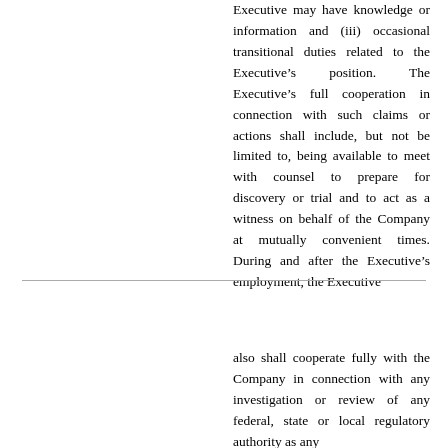Executive may have knowledge or information and (iii) occasional transitional duties related to the Executive's position. The Executive's full cooperation in connection with such claims or actions shall include, but not be limited to, being available to meet with counsel to prepare for discovery or trial and to act as a witness on behalf of the Company at mutually convenient times. During and after the Executive's employment, the Executive
also shall cooperate fully with the Company in connection with any investigation or review of any federal, state or local regulatory authority as any